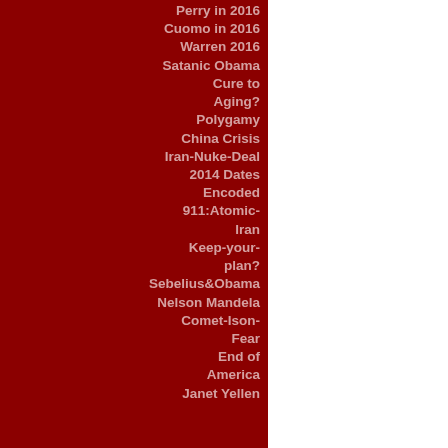Perry in 2016
Cuomo in 2016
Warren 2016
Satanic Obama
Cure to Aging?
Polygamy
China Crisis
Iran-Nuke-Deal
2014 Dates Encoded
911:Atomic-Iran
Keep-your-plan?
Sebelius&Obama
Nelson Mandela
Comet-Ison-Fear
End of America
Janet Yellen